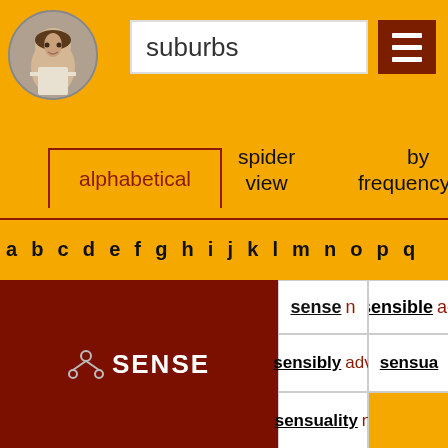[Figure (illustration): Circular portrait of Shakespeare on yellow background]
suburbs
[Figure (infographic): Navigation menu icon (three horizontal bars) on dark red background]
alphabetical
spider view
by frequency by
a b c d e f g h i j k l m n o p q
| SENSE | sense n | sensible ad |
|  | sensibly adv | sensua |
|  | sensuality n |  |